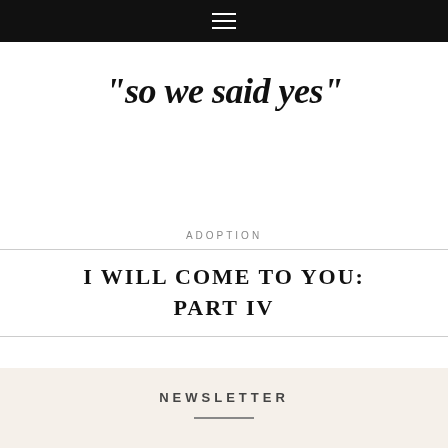≡
"so we said yes"
ADOPTION
I WILL COME TO YOU: PART IV
NEWSLETTER